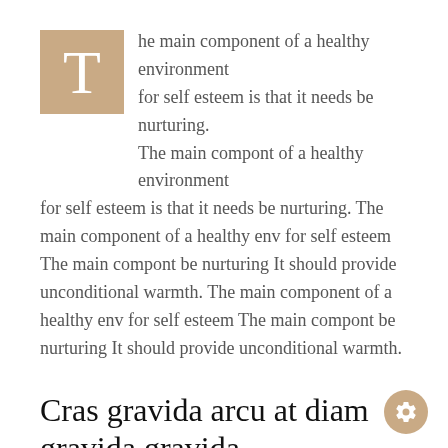The main component of a healthy environment for self esteem is that it needs be nurturing. The main compont of a healthy environment for self esteem is that it needs be nurturing. The main component of a healthy env for self esteem The main compont be nurturing It should provide unconditional warmth. The main component of a healthy env for self esteem The main compont be nurturing It should provide unconditional warmth.
Cras gravida arcu at diam gravida gravida
Curabitur accumsan turpis pharetra augue tincidunt blandit. Quisque condimentum maximus mi, sit amet